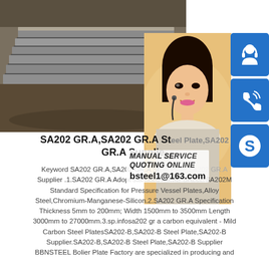[Figure (photo): Photo of stacked steel plates in a warehouse/factory setting, grey and dark tones. Overlaid with a customer service representative photo and three blue icon buttons (headset/support, phone, Skype). Contact overlay shows 'MANUAL SE', 'QUOTING O', 'bsteel1@163.com'.]
SA202 GR.A,SA202 GR.A Steel Plate,SA202 GR.A Supplier
Keyword SA202 GR.A,SA202 GR.A Steel Plate,SA202 GR.A Supplier .1.SA202 GR.A Adopt standard ASME SA202/SA202M Standard Specification for Pressure Vessel Plates,Alloy Steel,Chromium-Manganese-Silicon.2.SA202 GR.A Specification Thickness 5mm to 200mm; Width 1500mm to 3500mm Length 3000mm to 27000mm.3.sp.infosa202 gr a carbon equivalent - Mild Carbon Steel PlatesSA202-B,SA202-B Steel Plate,SA202-B Supplier.SA202-B,SA202-B Steel Plate,SA202-B Supplier BBNSTEEL Bolier Plate Factory are specialized in producing and